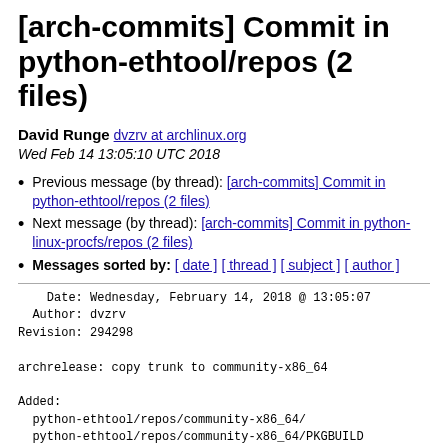[arch-commits] Commit in python-ethtool/repos (2 files)
David Runge dvzrv at archlinux.org
Wed Feb 14 13:05:10 UTC 2018
Previous message (by thread): [arch-commits] Commit in python-ethtool/repos (2 files)
Next message (by thread): [arch-commits] Commit in python-linux-procfs/repos (2 files)
Messages sorted by: [ date ] [ thread ] [ subject ] [ author ]
Date: Wednesday, February 14, 2018 @ 13:05:07
  Author: dvzrv
Revision: 294298

archrelease: copy trunk to community-x86_64

Added:
  python-ethtool/repos/community-x86_64/
  python-ethtool/repos/community-x86_64/PKGBUILD
    (from rev 294297, python-ethtool/trunk/PKGBUILD)